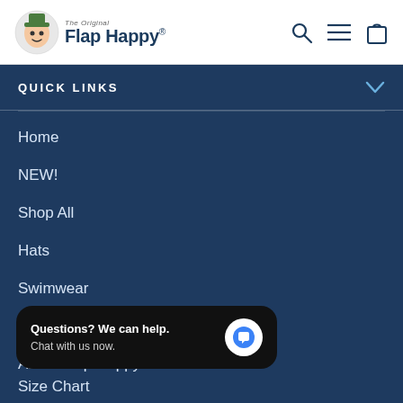[Figure (logo): The Original Flap Happy logo with cartoon character and brand name]
QUICK LINKS
Home
NEW!
Shop All
Hats
Swimwear
Face Masks & Gloves
About Flap Happy
Size Chart
Questions? We can help.
Chat with us now.